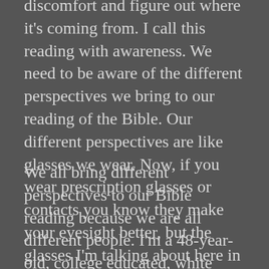discomfort and figure out where it's coming from. I call this reading with awareness. We need to be aware of the different perspectives we bring to our reading of the Bible. Our different perspectives are like glasses we wear. Now, if you wear prescription glasses or contacts you know they make your eyesight better, but the glasses I'm talking about here in regard to Bible reading can actually hinder your spiritual sight and blur your understanding when you read Scripture. And we must be aware of these different perspectives.
We all bring different perspectives to our Bible reading because we are all different people. I'm a 48-year-old, college educated, white married woman with children who lives in the suburbs of an American city in the South. These things shape who I am and my perspective, and there are many more: I